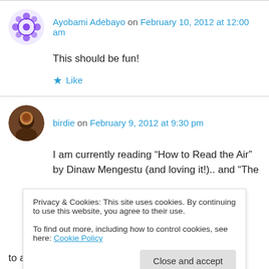Ayobami Adebayo on February 10, 2012 at 12:00 am
This should be fun!
Like
birdie on February 9, 2012 at 9:30 pm
I am currently reading “How to Read the Air” by Dinaw Mengestu (and loving it!).. and “The Official Wife” by Mona Kampa Shout (cut off)
Privacy & Cookies: This site uses cookies. By continuing to use this website, you agree to their use.
To find out more, including how to control cookies, see here: Cookie Policy
Close and accept
to add my current reads to the five because that